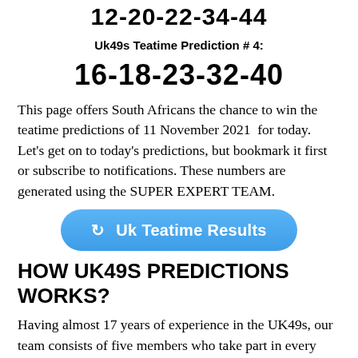12-20-22-34-44
Uk49s Teatime Prediction # 4:
16-18-23-32-40
This page offers South Africans the chance to win the teatime predictions of 11 November 2021  for today. Let's get on to today's predictions, but bookmark it first or subscribe to notifications. These numbers are generated using the SUPER EXPERT TEAM.
[Figure (other): Blue rounded button with refresh icon and text 'Uk Teatime Results']
HOW UK49S PREDICTIONS WORKS?
Having almost 17 years of experience in the UK49s, our team consists of five members who take part in every